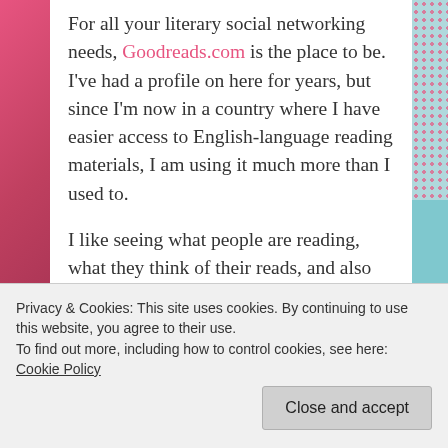For all your literary social networking needs, Goodreads.com is the place to be. I've had a profile on here for years, but since I'm now in a country where I have easier access to English-language reading materials, I am using it much more than I used to.
I like seeing what people are reading, what they think of their reads, and also following authors that I like. I read my first Louise Erdrich novel recently, and I'm very excited to read more!
Privacy & Cookies: This site uses cookies. By continuing to use this website, you agree to their use.
To find out more, including how to control cookies, see here: Cookie Policy
Close and accept